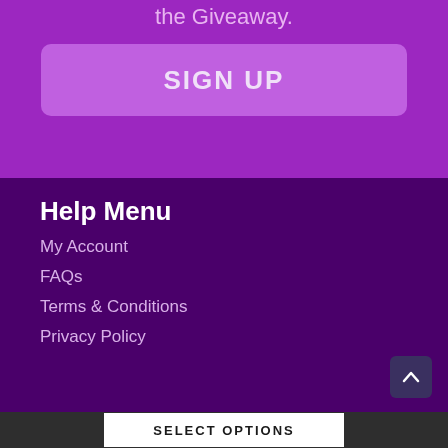the Giveaway.
SIGN UP
Help Menu
My Account
FAQs
Terms & Conditions
Privacy Policy
SELECT OPTIONS